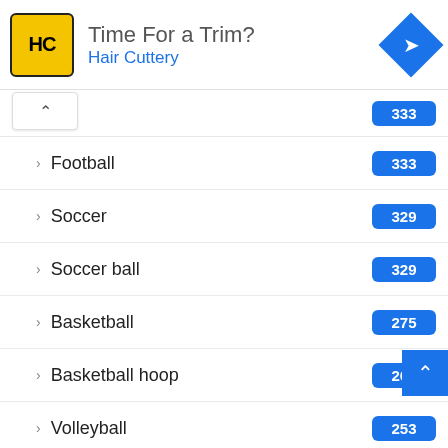[Figure (screenshot): Hair Cuttery advertisement banner with yellow logo, 'Time For a Trim?' text, and navigation icon]
NFL 333
Football 333
Soccer 329
Soccer ball 329
Basketball 275
Basketball hoop 267
Volleyball 253
Literature 166
Badminton 133
Kickball 93
Spikeball 86